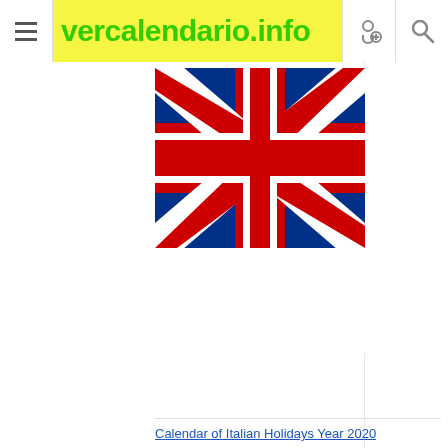vercalendario.info
[Figure (illustration): UK Union Jack flag partially shown, cropped at the top, displayed as a square image with red, white, and blue colors forming the Union Jack pattern.]
Calendar of Italian Holidays Year 2020